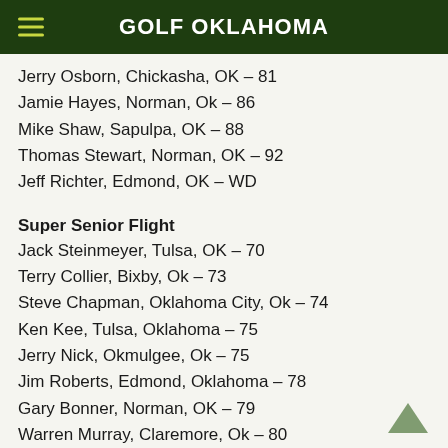GOLF OKLAHOMA
Jerry Osborn, Chickasha, OK – 81
Jamie Hayes, Norman, Ok – 86
Mike Shaw, Sapulpa, OK – 88
Thomas Stewart, Norman, OK – 92
Jeff Richter, Edmond, OK – WD
Super Senior Flight
Jack Steinmeyer, Tulsa, OK – 70
Terry Collier, Bixby, Ok – 73
Steve Chapman, Oklahoma City, Ok – 74
Ken Kee, Tulsa, Oklahoma – 75
Jerry Nick, Okmulgee, Ok – 75
Jim Roberts, Edmond, Oklahoma – 78
Gary Bonner, Norman, OK – 79
Warren Murray, Claremore, Ok – 80
Walter Pitts, Tulsa, Oklahoma – 81